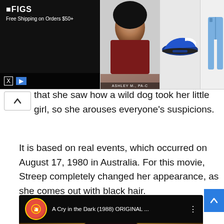[Figure (screenshot): Advertisement banner with FIGS branding (Free Shipping on Orders $50+), a woman model photo labeled ASHLEY M., PA-C, a blue New Balance sneaker, and blue medical scrub pants. Close/play icons visible at bottom left.]
that she saw how a wild dog took her little girl, so she arouses everyone’s suspicions.
It is based on real events, which occurred on August 17, 1980 in Australia. For this movie, Streep completely changed her appearance, as she comes out with black hair.
[Figure (screenshot): YouTube video embed titled 'A Cry in the Dark (1988) ORIGINAL ...' showing a woman with black bob haircut and intense expression, with a red YouTube play button in the center. Text 'HD' visible at bottom.]